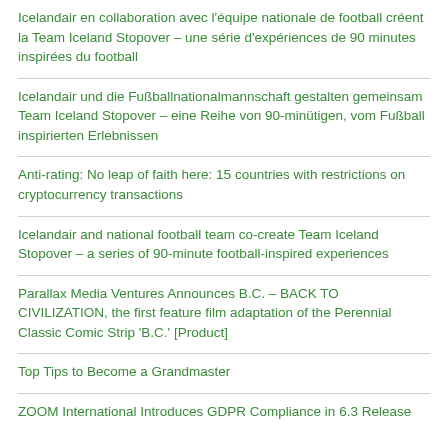Icelandair en collaboration avec l'équipe nationale de football créent la Team Iceland Stopover – une série d'expériences de 90 minutes inspirées du football
Icelandair und die Fußballnationalmannschaft gestalten gemeinsam Team Iceland Stopover – eine Reihe von 90-minütigen, vom Fußball inspirierten Erlebnissen
Anti-rating: No leap of faith here: 15 countries with restrictions on cryptocurrency transactions
Icelandair and national football team co-create Team Iceland Stopover – a series of 90-minute football-inspired experiences
Parallax Media Ventures Announces B.C. – BACK TO CIVILIZATION, the first feature film adaptation of the Perennial Classic Comic Strip 'B.C.' [Product]
Top Tips to Become a Grandmaster
ZOOM International Introduces GDPR Compliance in 6.3 Release